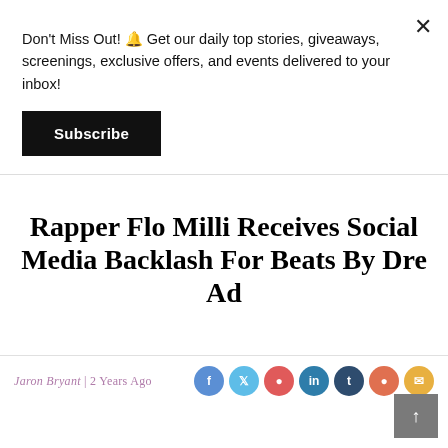Don't Miss Out! 🔔 Get our daily top stories, giveaways, screenings, exclusive offers, and events delivered to your inbox!
Subscribe
Rapper Flo Milli Receives Social Media Backlash For Beats By Dre Ad
Jaron Bryant | 2 Years Ago